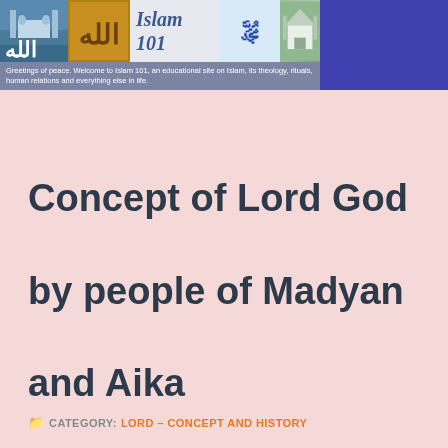[Figure (screenshot): Islam 101 website header banner with mosque image, gold Arabic calligraphy, site title 'Islam 101' in italic blue text, Arabic script logo, green mosque photo, and purple block on the right]
Greetings of peace. Welcome to Islam 101, an educational site on Islam, its theology, rituals, human relations and everything else in life.
Concept of Lord God by people of Madyan and Aika
CATEGORY: LORD - CONCEPT AND HISTORY